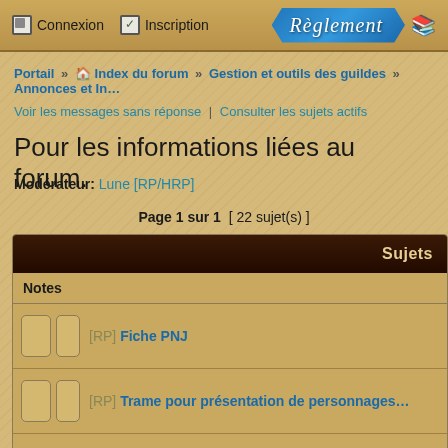Connexion | Inscription | Règlement
Portail » Index du forum » Gestion et outils des guildes » Annonces et In...
Voir les messages sans réponse | Consulter les sujets actifs
Pour les informations liées au forum.
Modérateur: Lune [RP/HRP]
Page 1 sur 1  [ 22 sujet(s) ]
| Sujets |
| --- |
| Notes |
| [RP] Fiche PNJ |
| [RP] Trame pour présentation de personnages... |
| Outils RP : parchemins, balises bbcodes... |